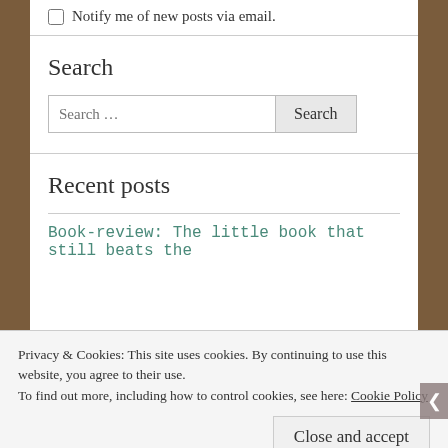Notify me of new posts via email.
Search
Search …
Recent posts
Book-review: The little book that still beats the
Privacy & Cookies: This site uses cookies. By continuing to use this website, you agree to their use. To find out more, including how to control cookies, see here: Cookie Policy
Close and accept